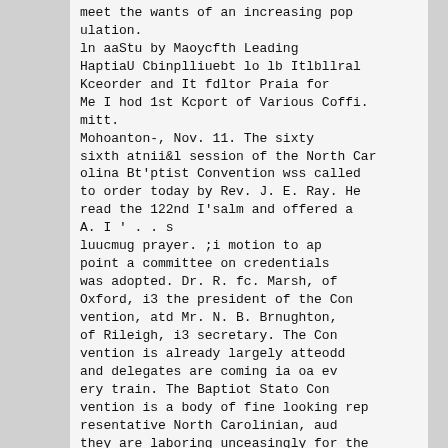meet the wants of an increasing population.
ln aaStu by Maoycfth Leading HaptiaU Cbinplliuebt lo lb Itlbllral Kceorder and It fdltor Praia for Me I hod 1st Kcport of Various Coffi.mitt.
Mohoanton-, Nov. 11. The sixty sixth atnii&l session of the North Carolina Bt'ptist Convention wss called to order today by Rev. J. E. Ray. He read the 122nd I'salm and offered a A. I ' . . s
luucmug prayer. ;i motion to ap point a committee on credentials was adopted. Dr. R. fc. Marsh, of Oxford, i3 the president of the Convention, atd Mr. N. B. Brnughton, of Rileigh, i3 secretary. The Convention is already largely atteodd and delegates are coming ia oa every train. The Baptiot Stato Convention is a body of fine looking representative North Carolinian, aud they are laboring unceasingly for the